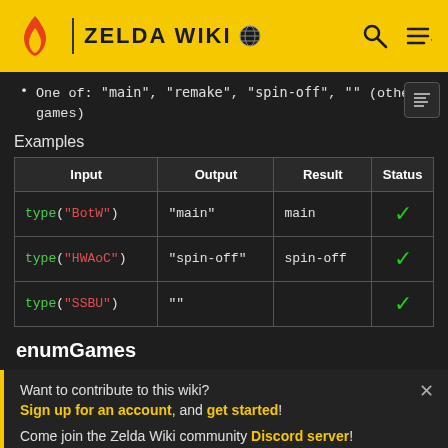ZELDA WIKI
One of: "main", "remake", "spin-off", "" (other games)
Examples
| Input | Output | Result | Status |
| --- | --- | --- | --- |
| type("BotW") | "main" | main | ✓ |
| type("HWAoC") | "spin-off" | spin-off | ✓ |
| type("SSBU") | "" |  | ✓ |
enumGames
Want to contribute to this wiki? Sign up for an account, and get started!

Come join the Zelda Wiki community Discord server!